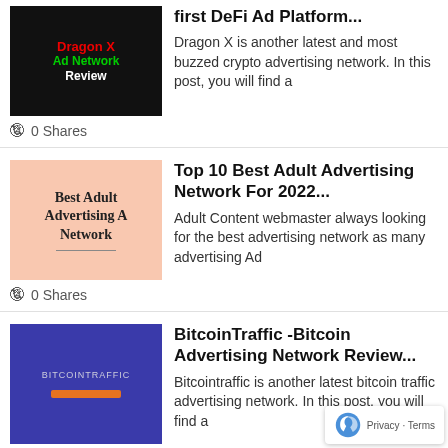[Figure (illustration): Dragon X Ad Network Review thumbnail — black background with red and green text]
first DeFi Ad Platform...
Dragon X is another latest and most buzzed crypto advertising network. In this post, you will find a
0 Shares
[Figure (illustration): Best Adult Advertising A Network thumbnail — pink/salmon background with dark serif text]
Top 10 Best Adult Advertising Network For 2022...
Adult Content webmaster always looking for the best advertising network as many advertising Ad
0 Shares
[Figure (illustration): BitcoinTraffic thumbnail — blue/purple gradient background with orange bar]
BitcoinTraffic -Bitcoin Advertising Network Review...
Bitcointraffic is another latest bitcoin traffic advertising network. In this post, you will find a
0 Shares
[Figure (illustration): CoinAd.Media Ad Network thumbnail — dark background with red text]
CoinAd.Media -Crypto Advertising Netw... Review...